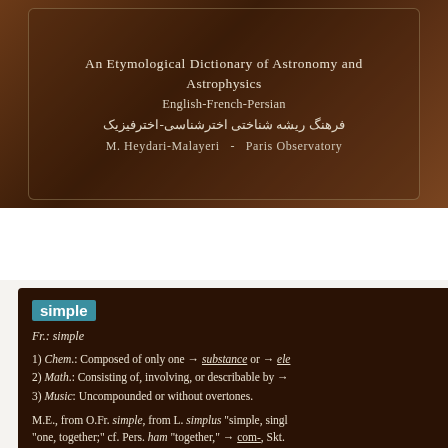An Etymological Dictionary of Astronomy and Astrophysics
English-French-Persian
فرهنگ ریشه شناختی اخترشناسی-اخترفیزیک
M. Heydari-Malayeri  -  Paris Observatory
A B C D E F G H I J K L M N O P Q R ... Z  [Search bar]
simple
Fr.: simple
1) Chem.: Composed of only one → substance or → element.
2) Math.: Consisting of, involving, or describable by →
3) Music: Uncompounded or without overtones.
M.E., from O.Fr. simple, from L. simplus "simple, single," from sim- "one, together;" cf. Pers. ham "together," → com-, Skt. *plek- "to plait," → multiply.
Sâdé "simple, unmixed, smooth, erased, plain;" cf. Kh...